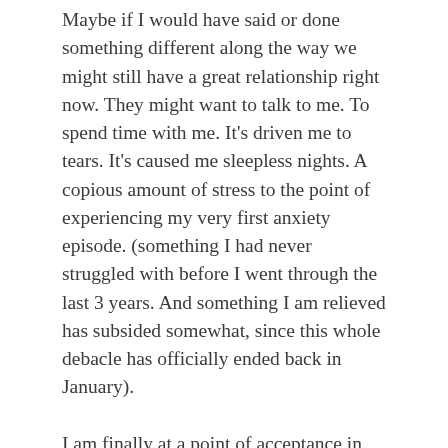Maybe if I would have said or done something different along the way we might still have a great relationship right now. They might want to talk to me. To spend time with me. It's driven me to tears. It's caused me sleepless nights. A copious amount of stress to the point of experiencing my very first anxiety episode. (something I had never struggled with before I went through the last 3 years. And something I am relieved has subsided somewhat, since this whole debacle has officially ended back in January).
I am finally at a point of acceptance in this particular situation. There's nothing more I can do on my end. I have intentionally had to make the decision to not only pick myself up off the floor, but now to finally move forward with my life. Not giving up hope that one day our relationship will be completely restored. This step of acceptance has also bled into every other area of my life. I am quicker now to